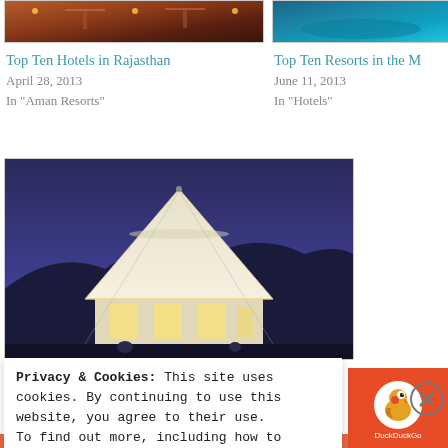[Figure (photo): Top partial image of a restaurant/hotel outdoor seating area with warm lighting]
[Figure (photo): Top partial image showing turquoise water, likely a resort pool or ocean]
Top Ten Hotels in Rajasthan
April 28, 2013
In "Aman Resorts"
Top Ten Resorts in the M
June 11, 2013
In "Hotels"
[Figure (photo): A white luxury tent/glamping structure at night with interior lights glowing, set against a dark blue twilight sky and silhouetted hills]
Privacy & Cookies: This site uses cookies. By continuing to use this website, you agree to their use.
To find out more, including how to control cookies, see here: Cookie Policy
Close and accept
[Figure (logo): DuckDuckGo logo on orange background]